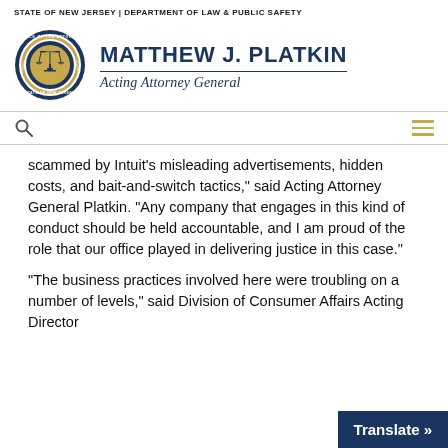STATE OF NEW JERSEY | DEPARTMENT OF LAW & PUBLIC SAFETY
[Figure (logo): Official seal of the Office of the Attorney General, State of New Jersey, circular gold and blue emblem with scales of justice]
MATTHEW J. PLATKIN
Acting Attorney General
scammed by Intuit's misleading advertisements, hidden costs, and bait-and-switch tactics," said Acting Attorney General Platkin. "Any company that engages in this kind of conduct should be held accountable, and I am proud of the role that our office played in delivering justice in this case."
"The business practices involved here were troubling on a number of levels," said Division of Consumer Affairs Acting Director